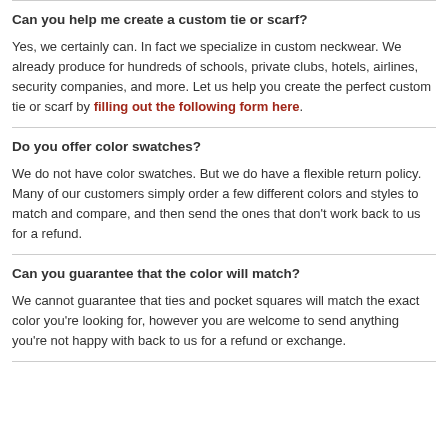Can you help me create a custom tie or scarf?
Yes, we certainly can. In fact we specialize in custom neckwear. We already produce for hundreds of schools, private clubs, hotels, airlines, security companies, and more. Let us help you create the perfect custom tie or scarf by filling out the following form here.
Do you offer color swatches?
We do not have color swatches. But we do have a flexible return policy. Many of our customers simply order a few different colors and styles to match and compare, and then send the ones that don't work back to us for a refund.
Can you guarantee that the color will match?
We cannot guarantee that ties and pocket squares will match the exact color you're looking for, however you are welcome to send anything you're not happy with back to us for a refund or exchange.